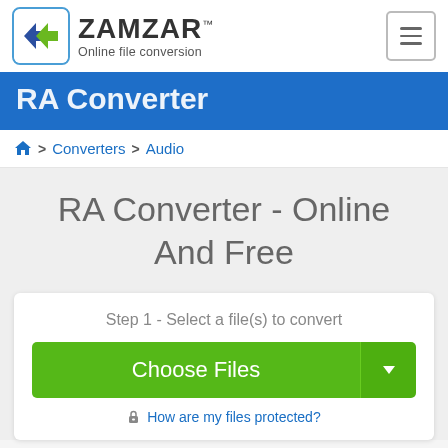[Figure (logo): Zamzar logo with double arrow icon and text 'ZAMZAR Online file conversion']
RA Converter
Home > Converters > Audio
RA Converter - Online And Free
Step 1 - Select a file(s) to convert
Choose Files
How are my files protected?